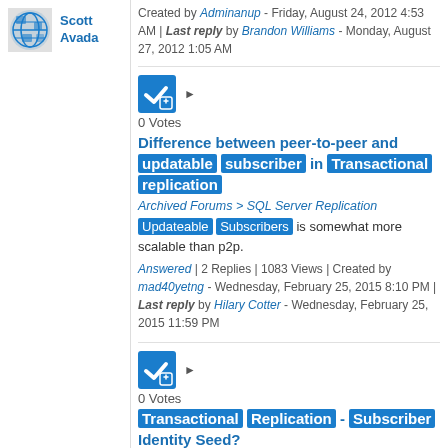Scott Avada
Created by Adminanup - Friday, August 24, 2012 4:53 AM | Last reply by Brandon Williams - Monday, August 27, 2012 1:05 AM
0 Votes
Difference between peer-to-peer and updatable subscriber in Transactional replication
Archived Forums > SQL Server Replication
Updateable Subscribers is somewhat more scalable than p2p.
Answered | 2 Replies | 1083 Views | Created by mad40yetng - Wednesday, February 25, 2015 8:10 PM | Last reply by Hilary Cotter - Wednesday, February 25, 2015 11:59 PM
0 Votes
Transactional Replication - Subscriber Identity Seed?
Archived Forums > SQL Ser...